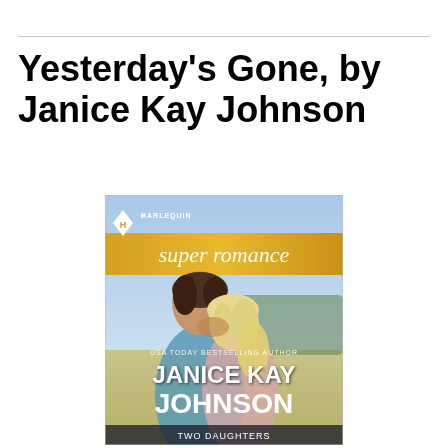Yesterday's Gone, by Janice Kay Johnson
[Figure (illustration): Book cover of 'Yesterday's Gone' by Janice Kay Johnson. Harlequin Superromance series. Shows a man leaning close to a blonde woman in an outdoor field setting. Text reads: USA TODAY BESTSELLING AUTHOR, JANICE KAY JOHNSON, TWO DAUGHTERS.]